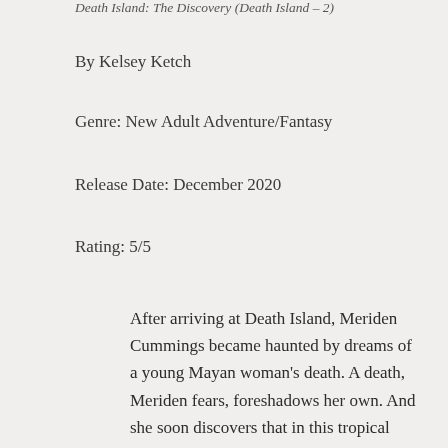Death Island: The Discovery (Death Island – 2)
By Kelsey Ketch
Genre: New Adult Adventure/Fantasy
Release Date: December 2020
Rating: 5/5
After arriving at Death Island, Meriden Cummings became haunted by dreams of a young Mayan woman's death. A death, Meriden fears, foreshadows her own. And she soon discovers that in this tropical paradise, there are many ways to die. On top of that, the pirates after her great-grandfather's treasure